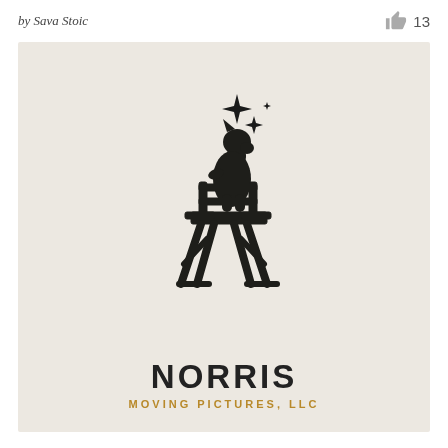by Sava Stoic
13
[Figure (logo): Logo for Norris Moving Pictures, LLC featuring a silhouette of a dog sitting on a director's chair with sparkle/star decorations above, on a warm beige background. Text reads NORRIS in large bold uppercase letters and MOVING PICTURES, LLC in smaller gold/tan uppercase letters below.]